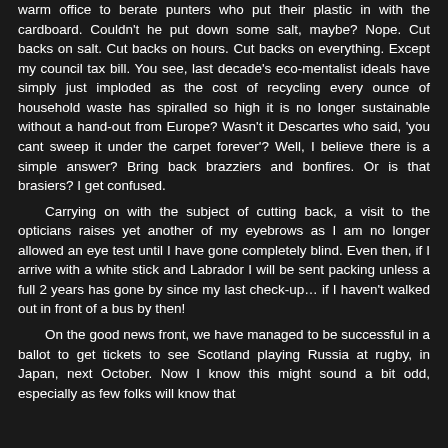warm office to berate punters who put their plastic in with the cardboard. Couldn't he put down some salt, maybe? Nope. Cut backs on salt. Cut backs on hours. Cut backs on everything. Except my council tax bill. You see, last decade's eco-mentalist ideals have simply just imploded as the cost of recycling every ounce of household waste has spiralled so high it is no longer sustainable without a hand-out from Europe? Wasn't it Descartes who said, 'you cant sweep it under the carpet forever'? Well, I believe there is a simple answer? Bring back brazziers and bonfires. Or is that brasiers? I get confused.
Carrying on with the subject of cutting back, a visit to the opticians raises yet another of my eyebrows as I am no longer allowed an eye test until I have gone completely blind. Even then, if I arrive with a white stick and Labrador I will be sent packing unless a full 2 years has gone by since my last check-up… if I haven't walked out in front of a bus by then!
On the good news front, we have managed to be successful in a ballot to get tickets to see Scotland playing Russia at rugby, in Japan, next October. Now I know this might sound a bit odd, especially as few folks will know that